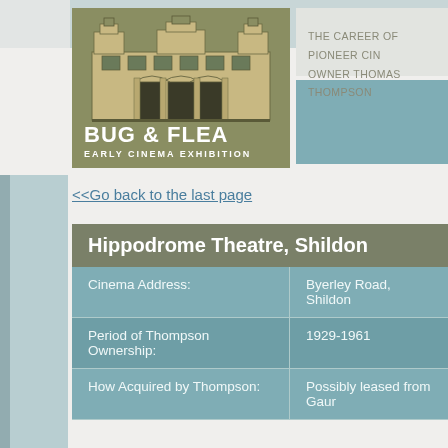[Figure (logo): Bug & Flea Early Cinema Exhibition logo with illustrated building (Hippodrome-style theatre) on olive/khaki background]
THE CAREER OF PIONEER CINEMA OWNER THOMAS THOMPSON
<<Go back to the last page
| Hippodrome Theatre, Shildon |  |
| --- | --- |
| Cinema Address: | Byerley Road, Shildon |
| Period of Thompson Ownership: | 1929-1961 |
| How Acquired by Thompson: | Possibly leased from Gaur |